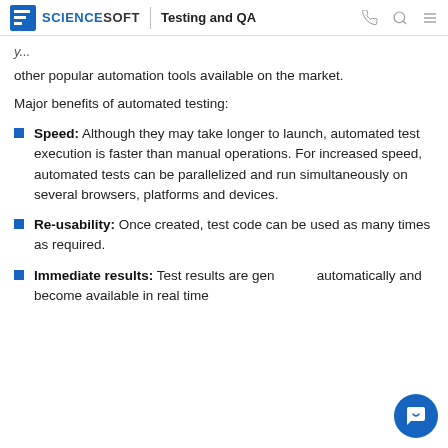ScienceSoft | Testing and QA
other popular automation tools available on the market.
Major benefits of automated testing:
Speed: Although they may take longer to launch, automated test execution is faster than manual operations. For increased speed, automated tests can be parallelized and run simultaneously on several browsers, platforms and devices.
Re-usability: Once created, test code can be used as many times as required.
Immediate results: Test results are generated automatically and become available in real time